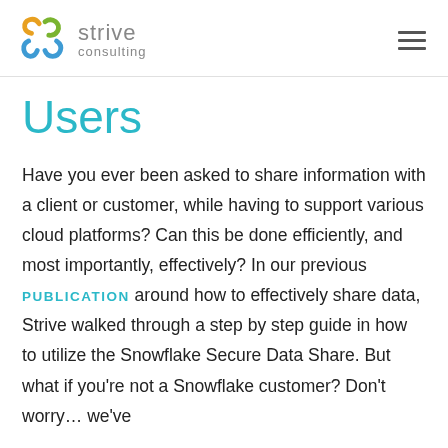strive consulting
Users
Have you ever been asked to share information with a client or customer, while having to support various cloud platforms? Can this be done efficiently, and most importantly, effectively? In our previous PUBLICATION around how to effectively share data, Strive walked through a step by step guide in how to utilize the Snowflake Secure Data Share. But what if you're not a Snowflake customer? Don't worry… we've